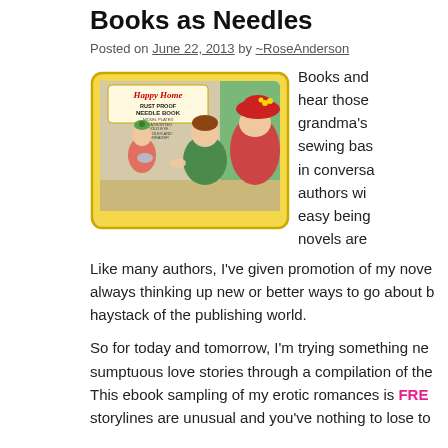Books as Needles
Posted on June 22, 2013 by ~RoseAnderson
[Figure (illustration): Vintage illustration of a Happy Home Rust Proof Needle Book showing two women and a girl, with text reading 'Happy Home RUST PROOF NEEDLE BOOK NICKEL PLATED TO ASSORTED GOLD EYE NEEDLES AND THREADER']
Books and... hear those... grandma's... sewing bas... in conversa... authors wi... easy being... novels are...
Like many authors, I've given promotion of my nove... always thinking up new or better ways to go about b... haystack of the publishing world.
So for today and tomorrow, I'm trying something ne... sumptuous love stories through a compilation of the... This ebook sampling of my erotic romances is FREE... storylines are unusual and you've nothing to lose to...